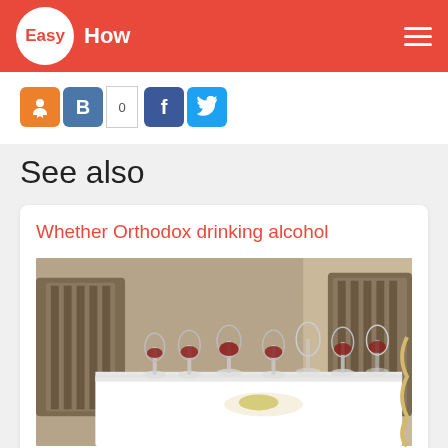EasyHow
[Figure (screenshot): Social sharing buttons: Odnoklassniki (orange), VKontakte (blue), share count 0, Facebook (blue), Twitter (light blue)]
See also
Whether Orthodox drinking alcohol
[Figure (photo): A dining table set with wine glasses containing red wine, white tablecloth, chairs with textured backs in a restaurant setting]